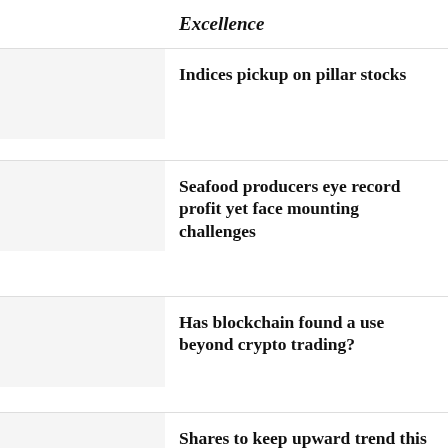Excellence
Indices pickup on pillar stocks
Seafood producers eye record profit yet face mounting challenges
Has blockchain found a use beyond crypto trading?
Shares to keep upward trend this week: brokers